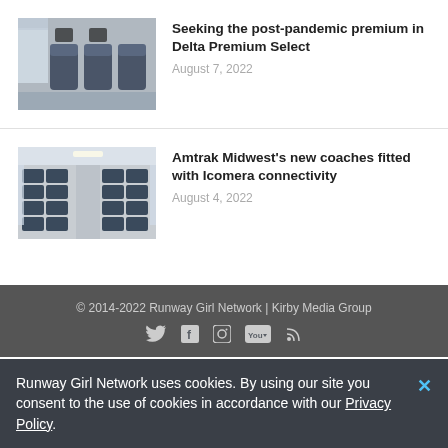[Figure (photo): Interior of Delta Premium Select cabin with premium seats and personal screens]
Seeking the post-pandemic premium in Delta Premium Select
August 7, 2022
[Figure (photo): Interior of Amtrak Midwest train coach with rows of seats]
Amtrak Midwest's new coaches fitted with Icomera connectivity
August 4, 2022
© 2014-2022 Runway Girl Network | Kirby Media Group
Runway Girl Network uses cookies. By using our site you consent to the use of cookies in accordance with our Privacy Policy.